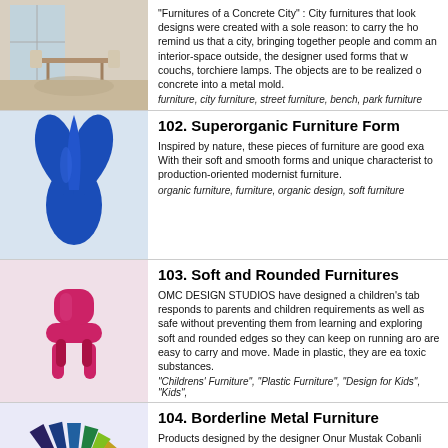[Figure (photo): Interior room with dining table and chairs near window]
“Furnitures of a Concrete City” : City furnitures that look designs were created with a sole reason: to carry the ho remind us that a city, bringing together people and comm an interior-space outside, the designer used forms that w couchs, torchiere lamps. The objects are to be realized o concrete into a metal mold.
furniture, city furniture, street furniture, bench, park furniture
[Figure (photo): Blue organic sculptural furniture form]
102. Superorganic Furniture Form
Inspired by nature, these pieces of furniture are good exa With their soft and smooth forms and unique characterist to production-oriented modernist furniture.
organic furniture, furniture, organic design, soft furniture
[Figure (photo): Pink/magenta rounded child-sized chair with soft forms]
103. Soft and Rounded Furnitures
OMC DESIGN STUDIOS have designed a children’s tab responds to parents and children requirements as well as safe without preventing them from learning and exploring soft and rounded edges so they can keep on running aro are easy to carry and move. Made in plastic, they are ea toxic substances.
"Childrens' Furniture", "Plastic Furniture", "Design for Kids", "Kids",
[Figure (photo): Colourful angular metal furniture pieces fanned out]
104. Borderline Metal Furniture
Products designed by the designer Onur Mustak Cobanli emphasizing the characteristics of the metal.
Metal Furniture, Steel Furniture, Metal, Steel